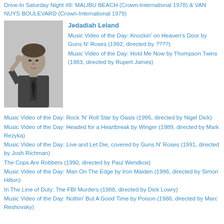Drive-In Saturday Night #8: MALIBU BEACH (Crown-International 1978) & VAN NUYS BOULEVARD (Crown-International 1979)
[Figure (photo): Black and white portrait photo of a man in a suit and tie, resting his hand near his face, looking thoughtfully to the side.]
Jedadiah Leland
Music Video of the Day: Knockin' on Heaven's Door by Guns N' Roses (1992, directed by ????)
Music Video of the Day: Hold Me Now by Thompson Twins (1983, directed by Rupert James)
Music Video of the Day: Rock 'N' Roll Star by Oasis (1995, directed by Nigel Dick)
Music Video of the Day: Headed for a Heartbreak by Winger (1989, directed by Mark Rezyka)
Music Video of the Day: Live and Let Die, covered by Guns N' Roses (1991, directed by Josh Richman)
The Cops Are Robbers (1990, directed by Paul Wendkos)
Music Video of the Day: Man On The Edge by Iron Maiden (1996, directed by Simon Hilton)
In The Line of Duty: The FBI Murders (1988, directed by Dick Lowry)
Music Video of the Day: Nothin' But A Good Time by Poison (1988, directed by Marc Reshovsky)